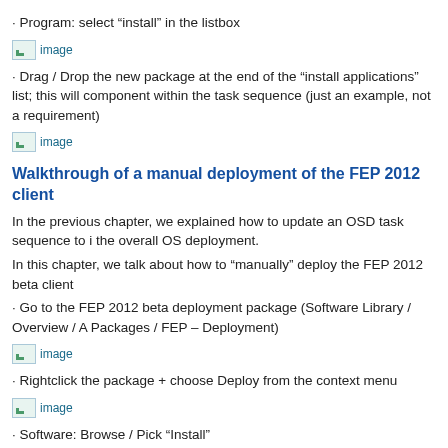· Program: select “install” in the listbox
[Figure (screenshot): Broken image placeholder labeled 'image']
· Drag / Drop the new package at the end of the “install applications” list; this will component within the task sequence (just an example, not a requirement)
[Figure (screenshot): Broken image placeholder labeled 'image']
Walkthrough of a manual deployment of the FEP 2012 client
In the previous chapter, we explained how to update an OSD task sequence to i the overall OS deployment.
In this chapter, we talk about how to “manually” deploy the FEP 2012 beta client
· Go to the FEP 2012 beta deployment package (Software Library / Overview / A Packages / FEP – Deployment)
[Figure (screenshot): Broken image placeholder labeled 'image']
· Rightclick the package + choose Deploy from the context menu
[Figure (screenshot): Broken image placeholder labeled 'image']
· Software: Browse / Pick “Install”
· Collection : Browse / Any collection of machines to which you want to deploy FE pick the collection “ All desktop and server clients”
[Figure (screenshot): Broken image placeholder labeled 'image']